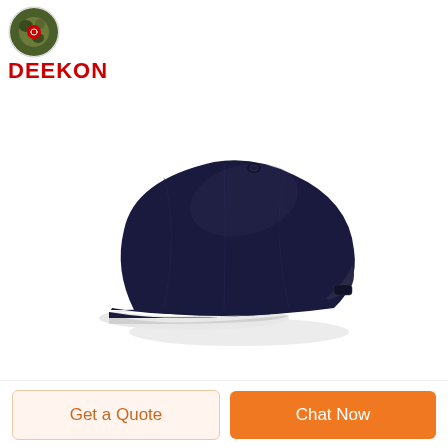[Figure (logo): DEEKON brand logo with circular camouflage emblem above bold red text reading DEEKON]
[Figure (photo): A navy blue baseball cap with a white and navy sandwich brim, displayed on a white background. The cap is a plain structured style with no visible logo or text.]
Get a Quote
Chat Now